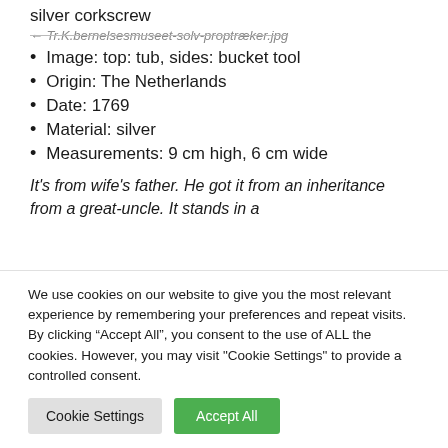silver corkscrew
← Tr.K.bernelsesmuseet-solv-proptræker.jpg
Image: top: tub, sides: bucket tool
Origin: The Netherlands
Date: 1769
Material: silver
Measurements: 9 cm high, 6 cm wide
It's from wife's father. He got it from an inheritance from a great-uncle. It stands in a
We use cookies on our website to give you the most relevant experience by remembering your preferences and repeat visits. By clicking “Accept All”, you consent to the use of ALL the cookies. However, you may visit "Cookie Settings" to provide a controlled consent.